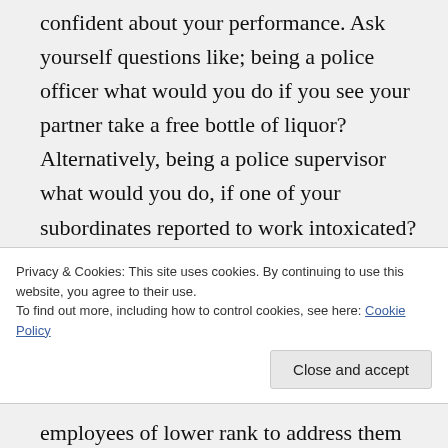confident about your performance. Ask yourself questions like; being a police officer what would you do if you see your partner take a free bottle of liquor? Alternatively, being a police supervisor what would you do, if one of your subordinates reported to work intoxicated? At first you might not like what you hear, but the more you practice the smoother your answers will become and more confident you will get.
Privacy & Cookies: This site uses cookies. By continuing to use this website, you agree to their use.
To find out more, including how to control cookies, see here: Cookie Policy
Close and accept
employees of lower rank to address them